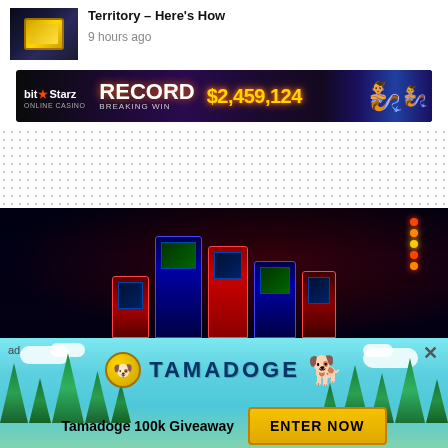Territory – Here's How
9 hours ago
[Figure (photo): BitStarz online casino advertisement banner showing record breaking win of $2,459,124 with genie characters]
[Figure (photo): Dotted/grid placeholder zone]
[Figure (photo): Dark arcade/gaming video thumbnail with colorful arcade machines]
[Figure (illustration): Tamadoge 100k Giveaway advertisement overlay with teal sky background, trees, dog mascot and Enter Now button]